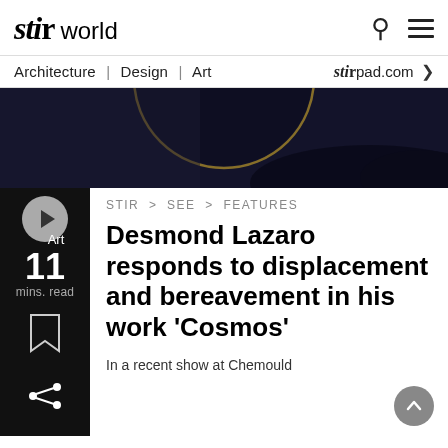stir world  Architecture | Design | Art  stir pad.com
[Figure (screenshot): Dark hero image area with circular gold/dark arc shape, partially visible at top of article]
Art  11 mins. read
STIR > SEE > FEATURES
Desmond Lazaro responds to displacement and bereavement in his work 'Cosmos'
In a recent show at Chemould